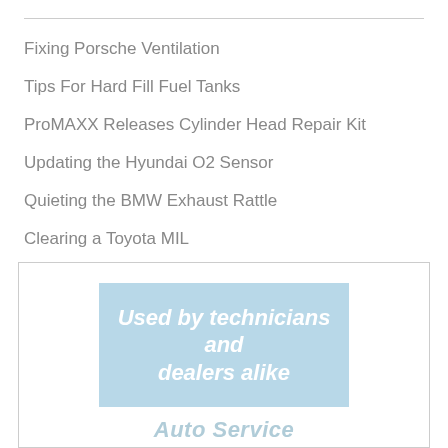Fixing Porsche Ventilation
Tips For Hard Fill Fuel Tanks
ProMAXX Releases Cylinder Head Repair Kit
Updating the Hyundai O2 Sensor
Quieting the BMW Exhaust Rattle
Clearing a Toyota MIL
[Figure (illustration): Advertisement banner with light blue rectangle containing bold white italic text reading 'Used by technicians and dealers alike', with 'Auto Service' text partially visible at the bottom in light blue italic]